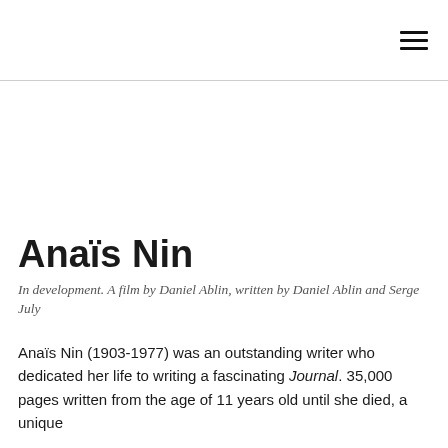☰
Anaïs Nin
In development. A film by Daniel Ablin, written by Daniel Ablin and Serge July
Anaïs Nin (1903-1977) was an outstanding writer who dedicated her life to writing a fascinating Journal. 35,000 pages written from the age of 11 years old until she died, a unique